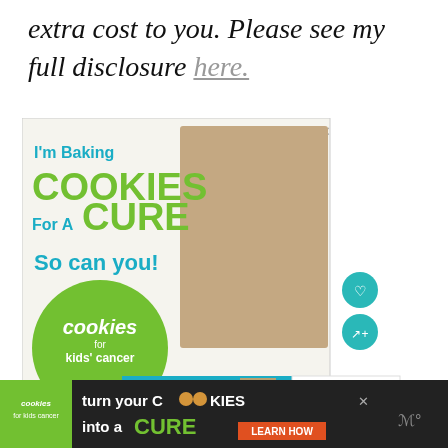extra cost to you. Please see my full disclosure here.
[Figure (screenshot): Advertisement for 'Cookies for Kids' Cancer' showing a young blonde girl holding a plate of cookies with text: I'm Baking COOKIES For A CURE So can you! with green circle logo and bottom bar showing Haldora, 11 Cancer Surv...]
[Figure (screenshot): Bottom banner advertisement: cookies for kids cancer - turn your COOKIES into a CURE LEARN HOW]